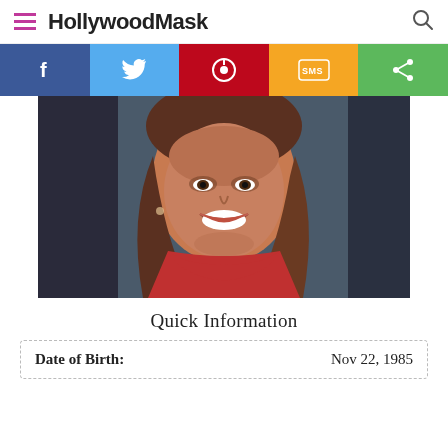HollywoodMask
[Figure (photo): Navigation bar with social sharing buttons: Facebook (blue), Twitter (light blue), Pinterest (red), SMS (yellow/orange), Share (green)]
[Figure (photo): Portrait photo of a young woman with long brown hair wearing a red top, smiling at camera, appears to be a TV personality or news anchor]
Quick Information
| Date of Birth: | Nov 22, 1985 |
| --- | --- |